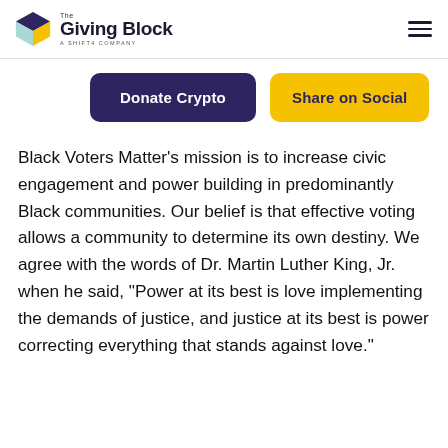The Giving Block — A Shift4 Company
[Figure (logo): The Giving Block logo with colored cube icon and text 'The Giving Block, A Shift4 Company']
Donate Crypto
Share on Social
Black Voters Matter’s mission is to increase civic engagement and power building in predominantly Black communities. Our belief is that effective voting allows a community to determine its own destiny. We agree with the words of Dr. Martin Luther King, Jr. when he said, “Power at its best is love implementing the demands of justice, and justice at its best is power correcting everything that stands against love.”